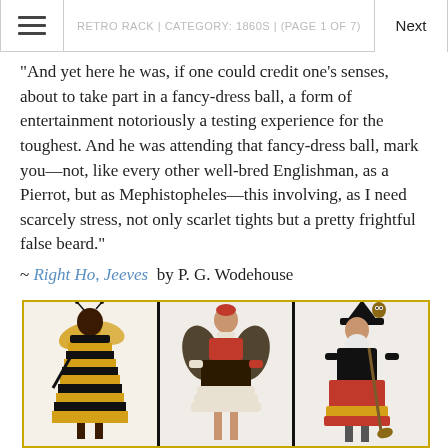RETRO RACK | CATEGORY: 1860S | (PAGE 1 OF 7)
"And yet here he was, if one could credit one's senses, about to take part in a fancy-dress ball, a form of entertainment notoriously a testing experience for the toughest. And he was attending that fancy-dress ball, mark you—not, like every other well-bred Englishman, as a Pierrot, but as Mephistopheles—this involving, as I need scarcely stress, not only scarlet tights but a pretty frightful false beard."
~ Right Ho, Jeeves by P. G. Wodehouse
[Figure (illustration): Three Victorian fancy-dress costume illustrations side by side: left - a bee costume with black and yellow striped dress and wings; center - a fairy/bird costume in red and dark colors with wings; right - a witch/owl costume with black hat, red and yellow dress, holding a broom with an owl perched on top.]